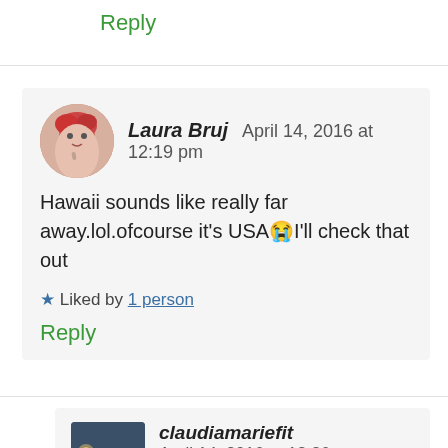Reply
Laura Bruj   April 14, 2016 at 12:19 pm
Hawaii sounds like really far away.lol.ofcourse it's USA😭I'll check that out
★ Liked by 1 person
Reply
claudiamariefit   April 14, 2016 at 12:26 pm
LOL not every knows that lol. Where about